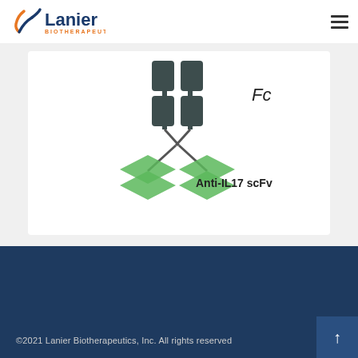[Figure (logo): Lanier Biotherapeutics logo with stylized Y/checkmark in navy and orange, company name in navy and orange text]
[Figure (illustration): Antibody-Fc fusion protein diagram showing dark grey Fc region (rectangular blocks) at top connected to green Anti-IL17 scFv domains (diamond shapes) at bottom, with labels 'Fc' and 'Anti-IL17 scFv']
©2021 Lanier Biotherapeutics, Inc. All rights reserved